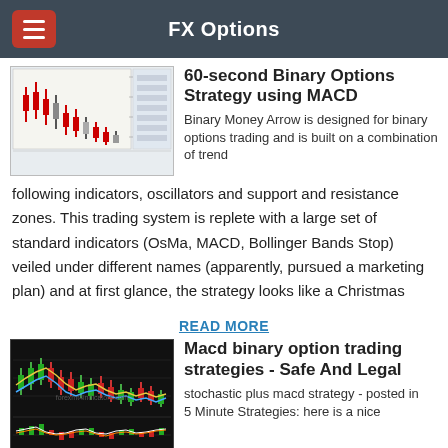FX Options
[Figure (screenshot): Trading chart screenshot showing candlestick price data with MACD indicator, menu panel visible on right side]
60-second Binary Options Strategy using MACD
Binary Money Arrow is designed for binary options trading and is built on a combination of trend following indicators, oscillators and support and resistance zones. This trading system is replete with a large set of standard indicators (OsMa, MACD, Bollinger Bands Stop) veiled under different names (apparently, pursued a marketing plan) and at first glance, the strategy looks like a Christmas
READ MORE
[Figure (screenshot): Dark trading chart showing candlestick and MACD oscillator with colored lines, watermark text visible]
Macd binary option trading strategies - Safe And Legal
stochastic plus macd strategy - posted in 5 Minute Strategies: here is a nice strategy for 1 minute, short 5 minute expiry: macd settings are 5,